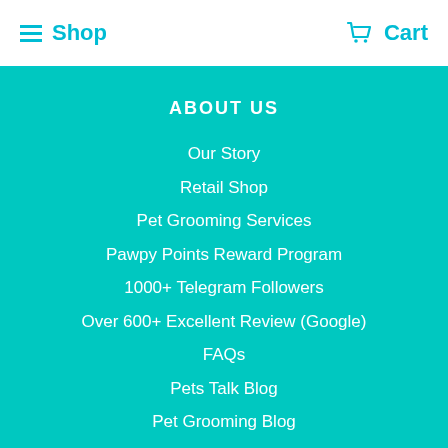Shop   Cart
ABOUT US
Our Story
Retail Shop
Pet Grooming Services
Pawpy Points Reward Program
1000+ Telegram Followers
Over 600+ Excellent Review (Google)
FAQs
Pets Talk Blog
Pet Grooming Blog
Career
Contact Us